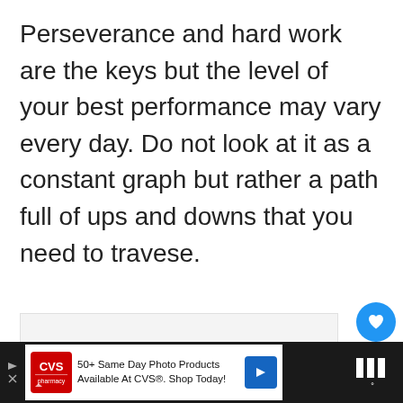Perseverance and hard work are the keys but the level of your best performance may vary every day. Do not look at it as a constant graph but rather a path full of ups and downs that you need to travese.
[Figure (screenshot): Social media UI elements: like button (blue circle with heart), like count showing '1', share button, and 'What's Next' recommendation panel with thumbnail]
[Figure (screenshot): Advertisement banner: CVS Pharmacy ad '50+ Same Day Photo Products Available At CVS®. Shop Today!' with navigation arrow and weather widget]